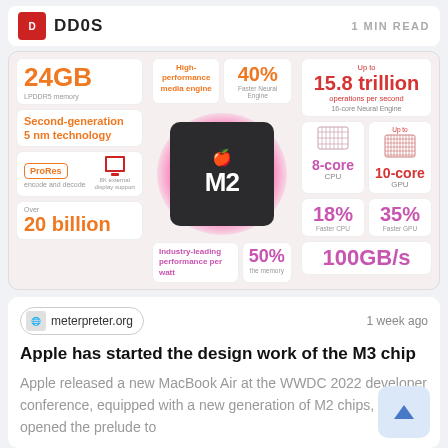DD0S   1 MIN READ
[Figure (infographic): Apple M2 chip infographic showing specs: 24GB LPDDR5 memory, Second-generation 5nm technology, ProRes encode and decode, 8K external display support, 20 billion transistors, High-performance media engine, 40% Faster Neural Engine, Up to 15.8 trillion operations per second, 16-core Neural Engine, 8-core CPU, Up to 10-core GPU, 18% Faster CPU, 35% Faster GPU, Industry-leading performance per watt, 50% (memory), 100GB/s]
meterpreter.org   1 week ago
Apple has started the design work of the M3 chip
Apple released a new MacBook Air at the WWDC 2022 developer conference, equipped with a new generation of M2 chips, which opened the prelude to